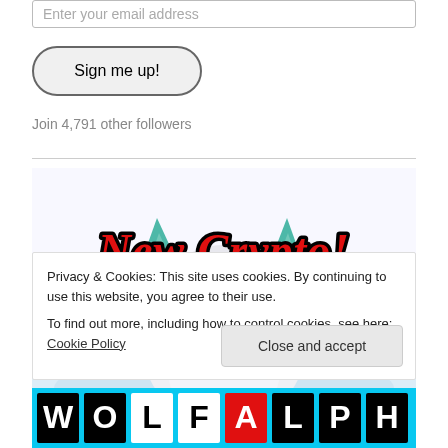Enter your email address
Sign me up!
Join 4,791 other followers
[Figure (illustration): Cartoon white fox/wolf character with teal ears and a blue lightning bolt on its forehead, with red cursive text reading 'New Crypto!' overlaid in front of it]
Privacy & Cookies: This site uses cookies. By continuing to use this website, you agree to their use.
To find out more, including how to control cookies, see here: Cookie Policy
Close and accept